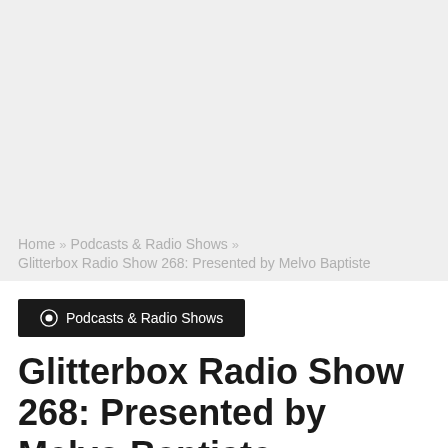Home » Podcasts & Radio Shows » Glitterbox Radio Show 268: Presented by Melvo Baptiste
Podcasts & Radio Shows
Glitterbox Radio Show 268: Presented by Melvo Baptiste